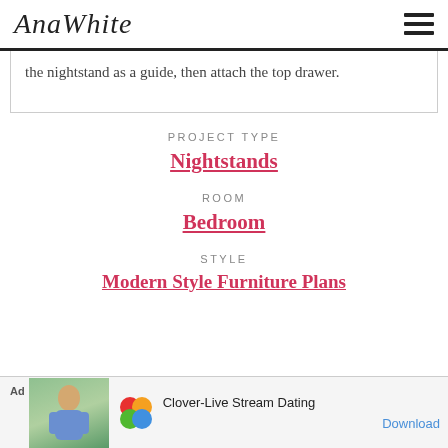AnaWhite
the nightstand as a guide, then attach the top drawer.
PROJECT TYPE
Nightstands
ROOM
Bedroom
STYLE
Modern Style Furniture Plans
[Figure (other): Advertisement banner: Clover-Live Stream Dating app ad with photo of woman, Clover logo, and Download button]